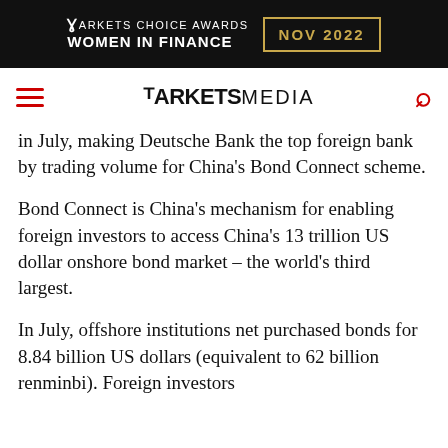[Figure (logo): Markets Choice Awards Women in Finance NOV 2022 banner advertisement on black background with gold date box]
MARKETS MEDIA (navigation bar with hamburger menu and search icon)
in July, making Deutsche Bank the top foreign bank by trading volume for China's Bond Connect scheme.
Bond Connect is China's mechanism for enabling foreign investors to access China's 13 trillion US dollar onshore bond market – the world's third largest.
In July, offshore institutions net purchased bonds for 8.84 billion US dollars (equivalent to 62 billion renminbi). Foreign investors